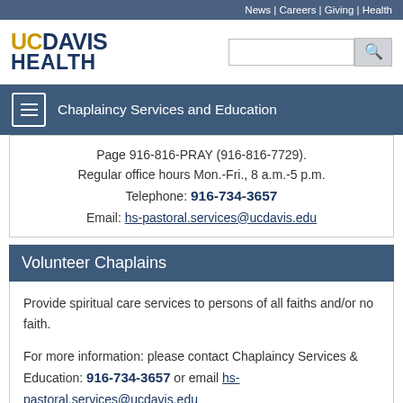News | Careers | Giving | Health
[Figure (logo): UC Davis Health logo with golden UC DAVIS text and dark blue HEALTH text, with search bar]
Chaplaincy Services and Education
Page 916-816-PRAY (916-816-7729). Regular office hours Mon.-Fri., 8 a.m.-5 p.m. Telephone: 916-734-3657 Email: hs-pastoral.services@ucdavis.edu
Volunteer Chaplains
Provide spiritual care services to persons of all faiths and/or no faith.

For more information: please contact Chaplaincy Services & Education: 916-734-3657 or email hs-pastoral.services@ucdavis.edu